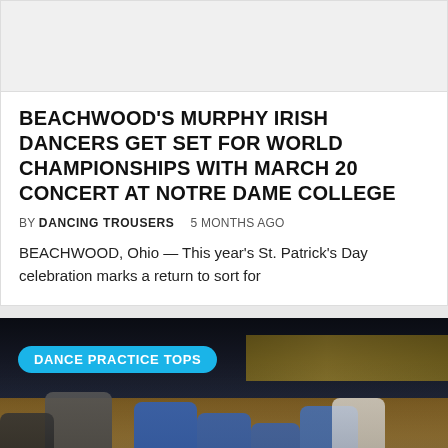[Figure (photo): Blank white/light gray image placeholder at top of article card]
BEACHWOOD'S MURPHY IRISH DANCERS GET SET FOR WORLD CHAMPIONSHIPS WITH MARCH 20 CONCERT AT NOTRE DAME COLLEGE
BY DANCING TROUSERS   5 MONTHS AGO
BEACHWOOD, Ohio — This year's St. Patrick's Day celebration marks a return to sort for
[Figure (photo): Basketball court practice scene with coach and players in blue uniforms, arena in background, 'DANCE PRACTICE TOPS' tag and back-to-top button overlay]